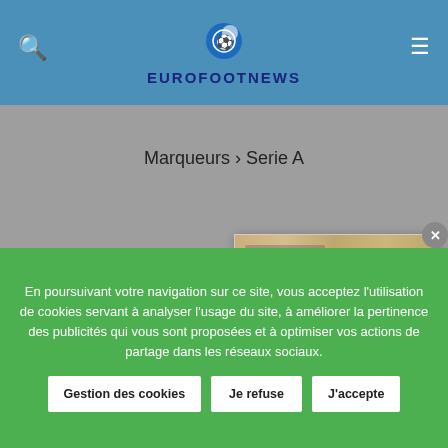EUROFOOTNEWS
Marqueurs › Serie A
[Figure (screenshot): Modal popup dialog with golden/beige top bar and close button]
My Page
22 AOÛT 2022
Ce que valent les clubs promus des cinq grands championnats
En poursuivant votre navigation sur ce site, vous acceptez l'utilisation de cookies servant à analyser l'usage du site, à améliorer la pertinence des publicités qui vous sont proposées et à optimiser vos actions de partage dans les réseaux sociaux.
Gestion des cookies Je refuse J'accepte